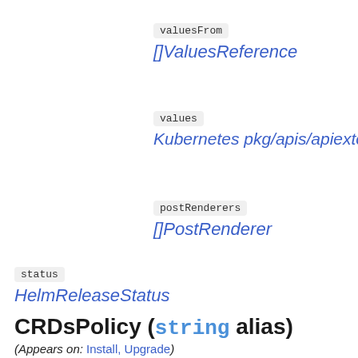valuesFrom
[]ValuesReference
values
Kubernetes pkg/apis/apiextensio
postRenderers
[]PostRenderer
status
HelmReleaseStatus
CRDsPolicy (string alias)
(Appears on: Install, Upgrade)